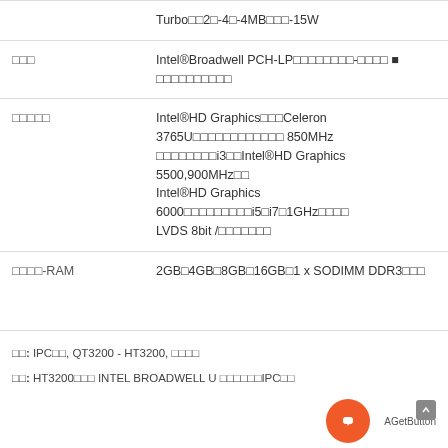| Feature | Description |
| --- | --- |
|  | Turbo□□2□-4□-4MB□□□-15W |
| □□□ | Intel®Broadwell PCH-LP□□□□□□□□-□□□□ ■ □□□□□□□□□□ |
| □□□□□ | Intel®HD Graphics□□□Celeron 3765U□□□□□□□□□□□□ 850MHz
□□□□□□□□i3□□Intel®HD Graphics 5500,900MHz□□
Intel®HD Graphics 6000□□□□□□□□□i5□i7□1GHz□□□□
LVDS 8bit /□□□□□□□ |
| □□□□-RAM | 2GB□4GB□8GB□16GB□1 x SODIMM DDR3□□□ |
□□: IPC□□, QT3200 - HT3200, □□□□
□□: HT3200□□□ INTEL BROADWELL U □□□□□□IPC□□